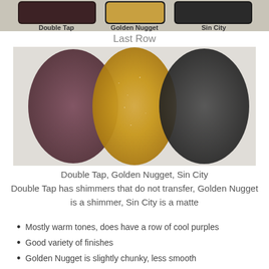[Figure (photo): Top strip showing palette pans with labels Double Tap, Golden Nugget, Sin City]
Last Row
[Figure (photo): Makeup swatch photo showing three swatches: Double Tap (mauve-brown shimmer), Golden Nugget (gold shimmer), Sin City (dark charcoal matte)]
Double Tap, Golden Nugget, Sin City
Double Tap has shimmers that do not transfer, Golden Nugget is a shimmer, Sin City is a matte
Mostly warm tones, does have a row of cool purples
Good variety of finishes
Golden Nugget is slightly chunky, less smooth